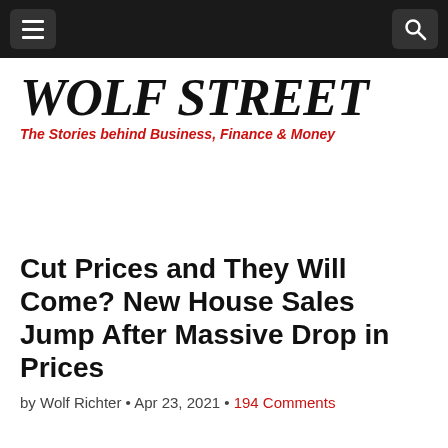Wolf Street — navigation bar with menu and search icons
[Figure (logo): Wolf Street logo: large bold italic serif text 'WOLF STREET' in black, with red italic tagline 'The Stories behind Business, Finance & Money']
Cut Prices and They Will Come? New House Sales Jump After Massive Drop in Prices
by Wolf Richter • Apr 23, 2021 • 194 Comments